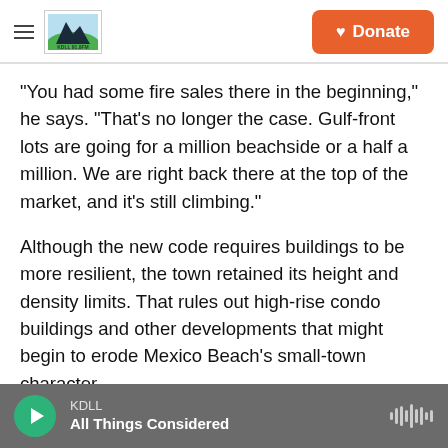KDLL [logo] | Donate
"You had some fire sales there in the beginning," he says. "That's no longer the case. Gulf-front lots are going for a million beachside or a half a million. We are right back there at the top of the market, and it's still climbing."
Although the new code requires buildings to be more resilient, the town retained its height and density limits. That rules out high-rise condo buildings and other developments that might begin to erode Mexico Beach's small-town character.
Mayor Cathey says there's been another change
KDLL | All Things Considered